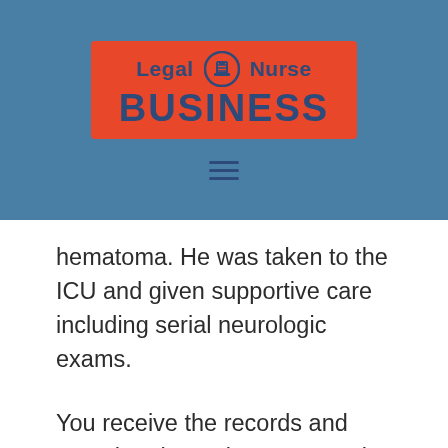[Figure (logo): Legal Nurse Business logo: red/orange rectangle with blue text reading 'Legal (icon) Nurse' above 'BUSINESS' in bold dark blue, on a steel blue header background with a hamburger menu icon below.]
hematoma. He was taken to the ICU and given supportive care including serial neurologic exams.
You receive the records and note that the patient was awake and oriented upon entering the ICU, but became confused overnight and was unable to follow commands by morning. The nurse placed a call to the resident and the patient was taken for a stat head CT scan. The results